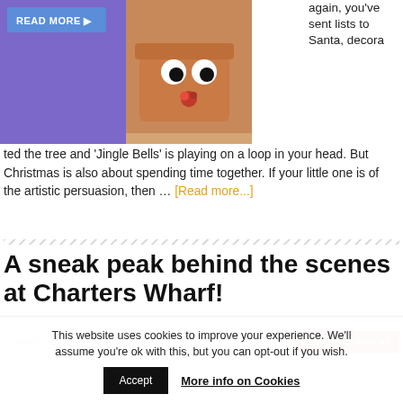[Figure (photo): A terracotta flower pot decorated with googly eyes and a red pom-pom nose to look like a face, with a purple background and a 'READ MORE' button overlay on the left side.]
again, you've sent lists to Santa, decorated the tree and 'Jingle Bells' is playing on a loop in your head. But Christmas is also about spending time together. If your little one is of the artistic persuasion, then … [Read more...]
A sneak peak behind the scenes at Charters Wharf!
AUGUST 5, 2016 BY GREENWICHMUM
LEAVE A COMMENT
This website uses cookies to improve your experience. We'll assume you're ok with this, but you can opt-out if you wish.
Accept
More info on Cookies